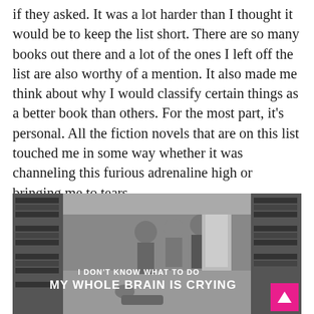if they asked. It was a lot harder than I thought it would be to keep the list short. There are so many books out there and a lot of the ones I left off the list are also worthy of a mention. It also made me think about why I would classify certain things as a better book than others. For the most part, it's personal. All the fiction novels that are on this list touched me in some way whether it was channeling this furious adrenaline high or bringing me to tears.
[Figure (photo): Black and white photo of people in a library/office setting with bookcases. Text overlay reads: 'I DON'T KNOW WHAT TO DO / MY WHOLE BRAIN IS CRYING'. A pink back-to-top button is visible in the bottom right corner.]